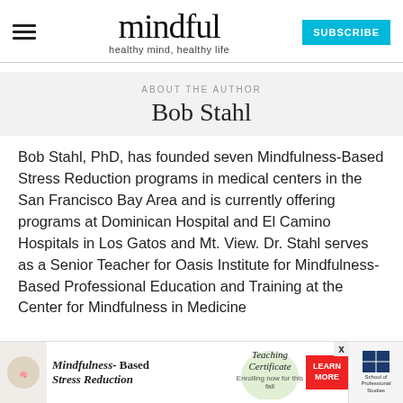mindful — healthy mind, healthy life
ABOUT THE AUTHOR
Bob Stahl
Bob Stahl, PhD, has founded seven Mindfulness-Based Stress Reduction programs in medical centers in the San Francisco Bay Area and is currently offering programs at Dominican Hospital and El Camino Hospitals in Los Gatos and Mt. View. Dr. Stahl serves as a Senior Teacher for Oasis Institute for Mindfulness-Based Professional Education and Training at the Center for Mindfulness in Medicine
[Figure (advertisement): Ad bar for Mindfulness-Based Stress Reduction Teaching Certificate program, with Learn More button and School of Professional Studies logo]